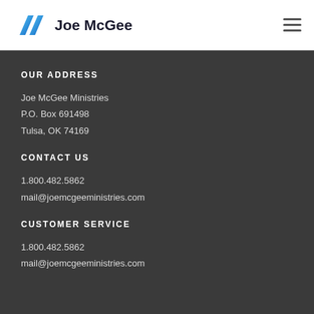Joe McGee
OUR ADDRESS
Joe McGee Ministries
P.O. Box 691498
Tulsa, OK 74169
CONTACT US
1.800.482.5862
mail@joemcgeeministries.com
CUSTOMER SERVICE
1.800.482.5862
mail@joemcgeeministries.com